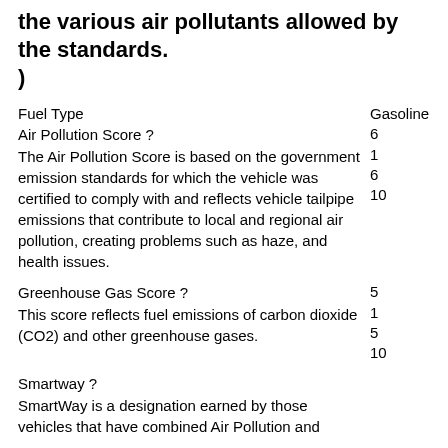the various air pollutants allowed by the standards.
)
Fuel Type	Gasoline
Air Pollution Score ?
The Air Pollution Score is based on the government emission standards for which the vehicle was certified to comply with and reflects vehicle tailpipe emissions that contribute to local and regional air pollution, creating problems such as haze, and health issues.
6
1
6
10
Greenhouse Gas Score ?
This score reflects fuel emissions of carbon dioxide (CO2) and other greenhouse gases.
5
1
5
10
Smartway ?
SmartWay is a designation earned by those vehicles that have combined Air Pollution and